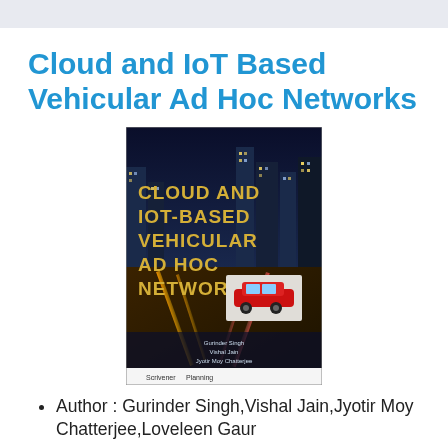Cloud and IoT Based Vehicular Ad Hoc Networks
[Figure (photo): Book cover of 'Cloud and IoT Based Vehicular Ad Hoc Networks' showing a nighttime city highway scene with large bold title text and a red sports car inset. Authors listed: Gurinder Singh, Vishal Jain, Jyotir Moy Chatterjee, Loveleen Gaur. Publisher logo: Scrivener Publishing.]
Author : Gurinder Singh,Vishal Jain,Jyotir Moy Chatterjee,Loveleen Gaur
Publisher : John Wiley & Sons